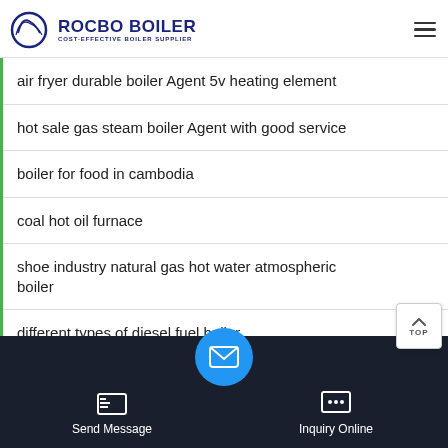ROCBO BOILER — COST-EFFECTIVE BOILER SUPPLIER
air fryer durable boiler Agent 5v heating element
hot sale gas steam boiler Agent with good service
boiler for food in cambodia
coal hot oil furnace
shoe industry natural gas hot water atmospheric boiler
different types of diesel fuel boiler
steam boiler price in china
Send Message | Inquiry Online